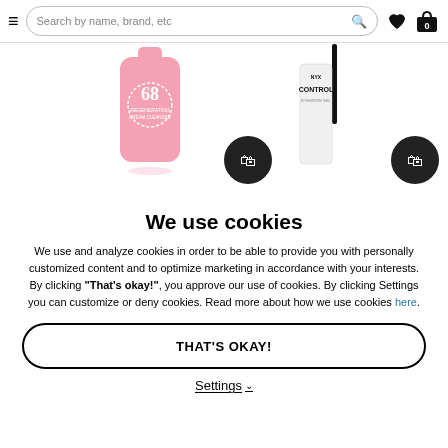Search by name, brand, etc
[Figure (screenshot): Product images: a pink beauty bottle labeled '68' on the left and NYX Control eyebrow gel on the right, each with a dark shopping bag icon]
We use cookies
We use and analyze cookies in order to be able to provide you with personally customized content and to optimize marketing in accordance with your interests. By clicking "That's okay!", you approve our use of cookies. By clicking Settings you can customize or deny cookies. Read more about how we use cookies here.
THAT'S OKAY!
Settings